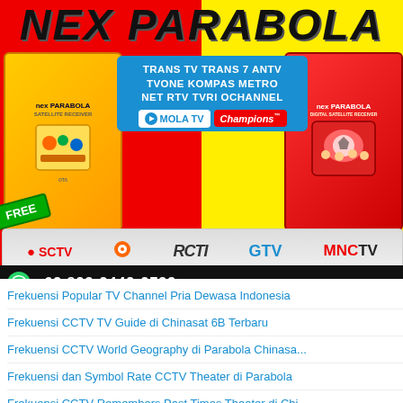NEX PARABOLA
[Figure (infographic): Nex Parabola product advertisement showing two satellite receiver boxes (yellow and red), channel listings including TRANS TV, TRANS 7, ANTV, TVONE, KOMPAS, METRO, NET, RTV, TVRI, OCHANNEL, MOLA TV, Champions, SCTV, RCTI, GTV, MNCTV, Citra Drama, Hore, Zee Bioskop, M, Love Nature, Zoo logo. FREE badge visible. Contact: +62 823-2442-2733 MASTER PARABOLA]
Frekuensi Popular TV Channel Pria Dewasa Indonesia
Frekuensi CCTV TV Guide di Chinasat 6B Terbaru
Frekuensi CCTV World Geography di Parabola Chinasa...
Frekuensi dan Symbol Rate CCTV Theater di Parabola
Frekuensi CCTV Remembers Past Times Theater di Chi...
Frekuensi dan Simbol Rate CCTV Classic di Parabola